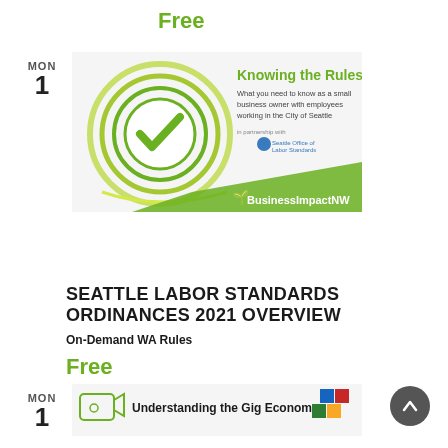Free
[Figure (illustration): Knowing the Rules event card with checkmark logo, green circular design, text: 'Knowing the Rules - What you need to know as a small business owner with employees working in the City of Seattle', Seattle Office of Labor Standards logo, BusinessImpactNW logo]
SEATTLE LABOR STANDARDS ORDINANCES 2021 OVERVIEW
On-Demand WA Rules
Free
[Figure (illustration): Understanding the Gig Economy event card with video camera icon, colorful blocks logo]
[Figure (other): Back to top button (dark circle with upward arrow)]